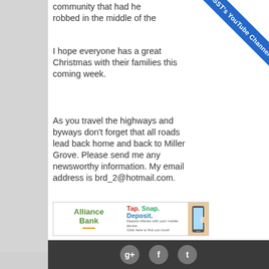community that had her robbed in the middle of the
I hope everyone has a great Christmas with their families this coming week.
As you travel the highways and byways don't forget that all roads lead back home and back to Miller Grove. Please send me any newsworthy information. My email address is brd_2@hotmail.com.
[Figure (other): Alliance Bank advertisement - Tap. Snap. Deposit. Deposit checks with your mobile device. Click here to find out more!]
[Figure (other): KSST's YouTube Channel diagonal ribbon banner]
Social media icons: Google+, Facebook, Twitter